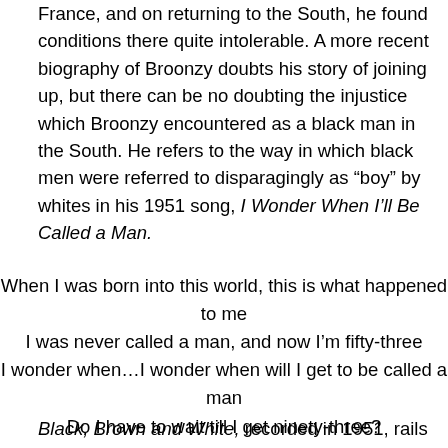France, and on returning to the South, he found conditions there quite intolerable. A more recent biography of Broonzy doubts his story of joining up, but there can be no doubting the injustice which Broonzy encountered as a black man in the South. He refers to the way in which black men were referred to disparagingly as “boy” by whites in his 1951 song, I Wonder When I’ll Be Called a Man.
When I was born into this world, this is what happened to me
I was never called a man, and now I’m fifty-three
I wonder when…I wonder when will I get to be called a man
Do I have to wait till I get ninety-three?
Black, Brown and White, recorded in 1951, rails against